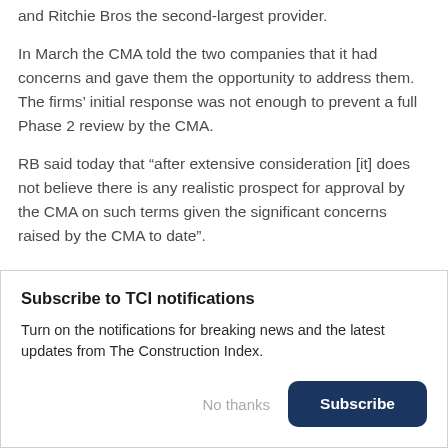and Ritchie Bros the second-largest provider.
In March the CMA told the two companies that it had concerns and gave them the opportunity to address them. The firms' initial response was not enough to prevent a full Phase 2 review by the CMA.
RB said today that “after extensive consideration [it] does not believe there is any realistic prospect for approval by the CMA on such terms given the significant concerns raised by the CMA to date”.
Subscribe to TCI notifications
Turn on the notifications for breaking news and the latest updates from The Construction Index.
No thanks
Subscribe